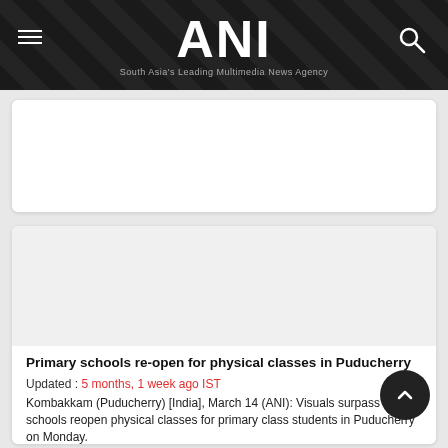ANI — South Asia's Leading Multimedia News Agency
[Figure (other): White advertisement/content card placeholder area 1]
[Figure (other): News article card with image placeholder for Puducherry schools story]
Primary schools re-open for physical classes in Puducherry
Updated : 5 months, 1 week ago IST
Kombakkam (Puducherry) [India], March 14 (ANI): Visuals surpass as schools reopen physical classes for primary class students in Puducherry on Monday.